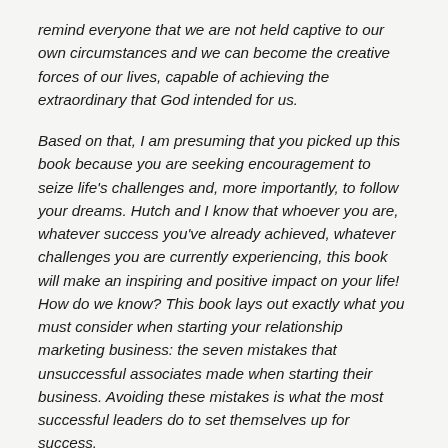remind everyone that we are not held captive to our own circumstances and we can become the creative forces of our lives, capable of achieving the extraordinary that God intended for us.
Based on that, I am presuming that you picked up this book because you are seeking encouragement to seize life's challenges and, more importantly, to follow your dreams. Hutch and I know that whoever you are, whatever success you've already achieved, whatever challenges you are currently experiencing, this book will make an inspiring and positive impact on your life! How do we know? This book lays out exactly what you must consider when starting your relationship marketing business: the seven mistakes that unsuccessful associates made when starting their business. Avoiding these mistakes is what the most successful leaders do to set themselves up for success.